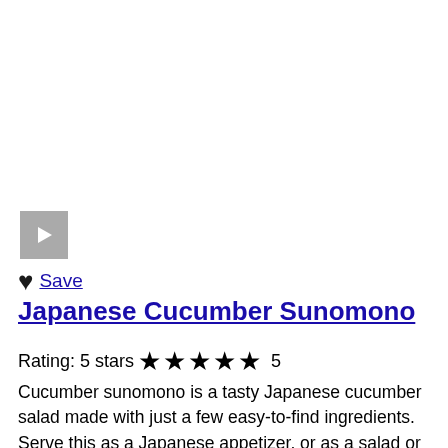[Figure (other): Video play button thumbnail (grey square with white play triangle)]
❤ Save
Japanese Cucumber Sunomono
Rating: 5 stars ★★★★★ 5
Cucumber sunomono is a tasty Japanese cucumber salad made with just a few easy-to-find ingredients. Serve this as a Japanese appetizer, or as a salad or side dish to pair with any meal. Nice for a summer BBQ!
By ChefJackie
Marshmallow Cake